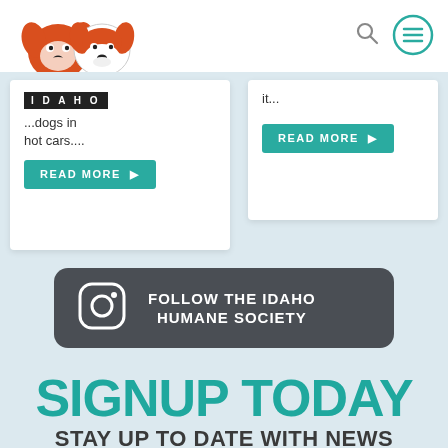[Figure (logo): Idaho Humane Society logo with illustrated dog faces in orange/red and black and white, above 'IDAHO' text badge]
[Figure (illustration): Search magnifying glass icon]
[Figure (illustration): Hamburger menu icon in teal circle]
...dogs in hot cars....
READ MORE
it...
READ MORE
FOLLOW THE IDAHO HUMANE SOCIETY
SIGNUP TODAY
STAY UP TO DATE WITH NEWS